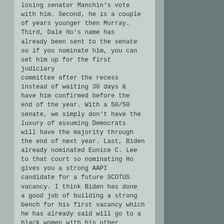losing senator Manchin's vote with him. Second, he is a couple of years younger then Murray. Third, Dale Ho's name has already been sent to the senate so if you nominate him, you can set him up for the first judiciary committee after the recess instead of waiting 30 days & have him confirmed before the end of the year. With a 50/50 senate, we simply don't have the luxury of assuming Democrats will have the majority through the end of next year. Last, Biden already nominated Eunice C. Lee to that court so nominating Ho gives you a strong AAPI candidate for a future SCOTUS vacancy. I think Biden has done a good job of building a strong bench for his first vacancy which he has already said will go to a black women with his other appeals court nominees.

I most definitely would nominate